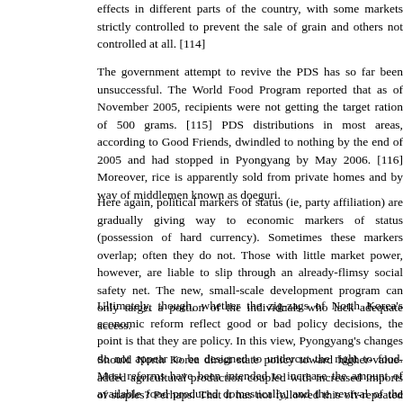effects in different parts of the country, with some markets strictly controlled to prevent the sale of grain and others not controlled at all. [114]
The government attempt to revive the PDS has so far been unsuccessful. The World Food Program reported that as of November 2005, recipients were not getting the target ration of 500 grams. [115] PDS distributions in most areas, according to Good Friends, dwindled to nothing by the end of 2005 and had stopped in Pyongyang by May 2006. [116] Moreover, rice is apparently sold from private homes and by way of middlemen known as doeguri.
Here again, political markers of status (ie, party affiliation) are gradually giving way to economic markers of status (possession of hard currency). Sometimes these markers overlap; often they do not. Those with little market power, however, are liable to slip through an already-flimsy social safety net. The new, small-scale development program can only target a portion of the individuals who lack adequate access.
Ultimately, though, whether the zig-zags of North Korea's economic reform reflect good or bad policy decisions, the point is that they are policy. In this view, Pyongyang's changes do not appear to be designed to undercut the right to food. Most reforms have been intended to increase the amount of available food produced domestically, and the revival of the PDS attempted to address the problem of distribution.
Should North Korea direct state policy toward higher-value-added agricultural production coupled with increased imports of staples? Perhaps. That it has not followed this oft-repeated advice, however, speaks more to its stubbornness – and its reluctance to jeopardize the one-third of its population in the countryside – than to any deliberate abuse of human rights.